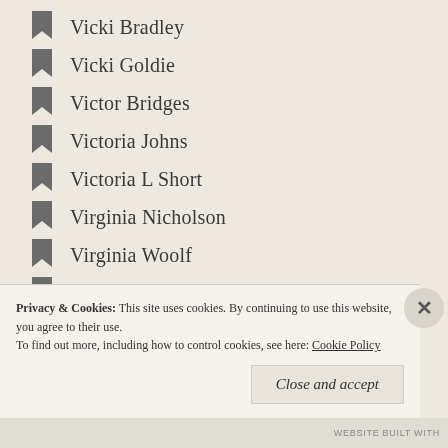Vicki Bradley
Vicki Goldie
Victor Bridges
Victoria Johns
Victoria L Short
Virginia Nicholson
Virginia Woolf
W.C. Ryan
Wendy Holden
West Camel
William Boyd
Winifred Holtby
Winifred Peck
Privacy & Cookies: This site uses cookies. By continuing to use this website, you agree to their use. To find out more, including how to control cookies, see here: Cookie Policy
Close and accept